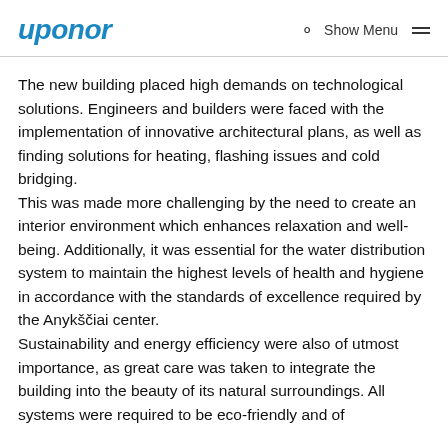uponor | Search | Show Menu
The new building placed high demands on technological solutions. Engineers and builders were faced with the implementation of innovative architectural plans, as well as finding solutions for heating, flashing issues and cold bridging. This was made more challenging by the need to create an interior environment which enhances relaxation and well-being. Additionally, it was essential for the water distribution system to maintain the highest levels of health and hygiene in accordance with the standards of excellence required by the Anykščiai center. Sustainability and energy efficiency were also of utmost importance, as great care was taken to integrate the building into the beauty of its natural surroundings. All systems were required to be eco-friendly and of